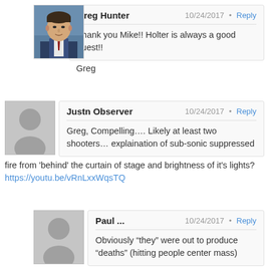Greg Hunter · 10/24/2017 · Reply
Thank you Mike!! Holter is always a good guest!!
Greg
Justn Observer · 10/24/2017 · Reply
Greg, Compelling.... Likely at least two shooters... explaination of sub-sonic suppressed fire from 'behind' the curtain of stage and brightness of it's lights?
https://youtu.be/vRnLxxWqsTQ
Paul ... · 10/24/2017 · Reply
Obviously "they" were out to produce "deaths" (hitting people center mass) ... not a bunch of "wounded" people ... so why such